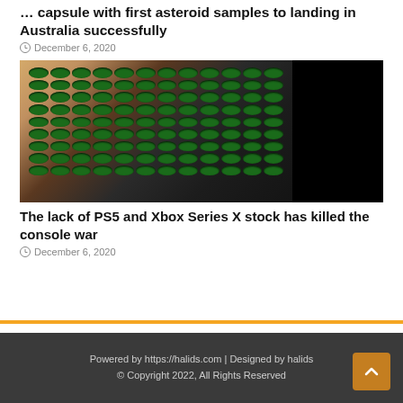... capsule with first asteroid samples to landing in Australia successfully
December 6, 2020
[Figure (photo): Xbox Series X console viewed from top-front angle showing grid of circular ventilation holes with green LEDs, placed by a window. Right portion of image is black.]
The lack of PS5 and Xbox Series X stock has killed the console war
December 6, 2020
Powered by https://halids.com | Designed by halids © Copyright 2022, All Rights Reserved